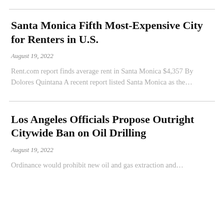Santa Monica Fifth Most-Expensive City for Renters in U.S.
August 19, 2022
Rent.com report finds average rent in Santa Monica $4,357 By Dolores Quintana A recent report listed Santa Monica as the…
Los Angeles Officials Propose Outright Citywide Ban on Oil Drilling
August 19, 2022
Ordinance would prohibit new oil and gas extraction and…